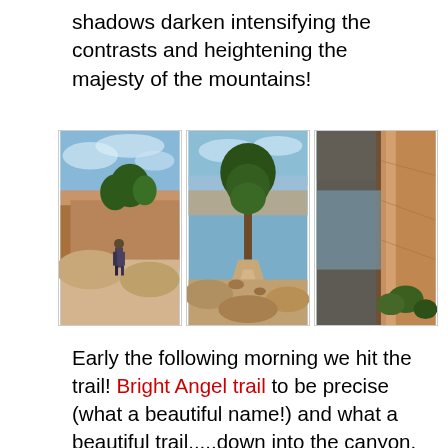shadows darken intensifying the contrasts and heightening the majesty of the mountains!
[Figure (photo): Three side-by-side photos of a canyon trail (Bright Angel Trail at the Grand Canyon): left shows a hiker standing on rocky ledge overlooking the canyon; center shows a rocky trail path with a pine tree; right shows tall sandstone canyon walls with canyon vista in background.]
Early the following morning we hit the trail! Bright Angel trail to be precise (what a beautiful name!) and what a beautiful trail.....down into the canyon. We didn't even go half way down (its not advised that you go down and back in a day because of the huge change in altitude!) but what we did was